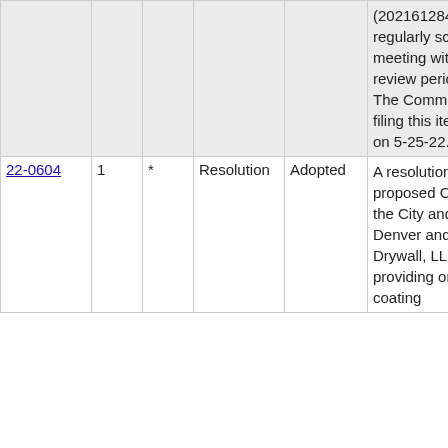| File # | Ver. | Agenda Stage | Type | Status | Description |  |
| --- | --- | --- | --- | --- | --- | --- |
|  |  |  |  |  | (202161284). The last regularly scheduled Council meeting within the 30-day review period is on 6-27-22. The Committee approved filing this item at its meeting on 5-25-22. |  |
| 22-0604 | 1 | * | Resolution | Adopted | A resolution approving a proposed Contract between the City and County of Denver and Four Star Drywall, LLP concerning providing on-call painting and coating |  |